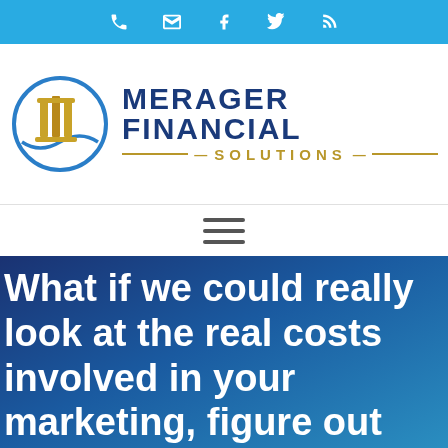Merager Financial Solutions — navigation icon bar (phone, email, Facebook, Twitter, RSS)
[Figure (logo): Merager Financial Solutions logo — circular blue/gold emblem with stylized building columns, beside bold blue text 'MERAGER FINANCIAL' and gold text 'SOLUTIONS']
[Figure (other): Hamburger menu icon (three horizontal lines)]
What if we could really look at the real costs involved in your marketing, figure out